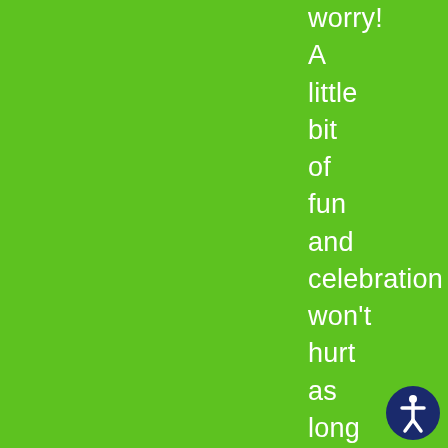worry! A little bit of fun and celebration won't hurt as long as you use a
[Figure (illustration): Accessibility icon: white stick figure in circle with dark navy blue background, bottom right corner]